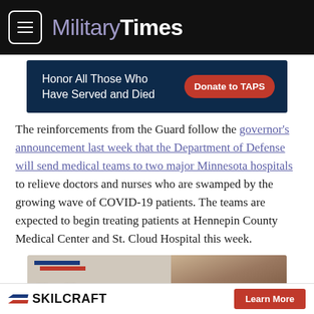Military Times
[Figure (other): Advertisement banner: 'Honor All Those Who Have Served and Died' with red 'Donate to TAPS' button on dark navy background]
The reinforcements from the Guard follow the governor's announcement last week that the Department of Defense will send medical teams to two major Minnesota hospitals to relieve doctors and nurses who are swamped by the growing wave of COVID-19 patients. The teams are expected to begin treating patients at Hennepin County Medical Center and St. Cloud Hospital this week.
[Figure (other): Advertisement banner with striped accent: 'You Have a Requirement' text over photo of person with locs]
[Figure (logo): SKILCRAFT logo with chevron stripes and 'Learn More' red button]